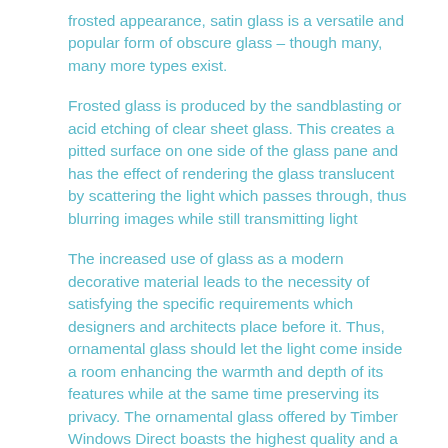frosted appearance, satin glass is a versatile and popular form of obscure glass – though many, many more types exist.
Frosted glass is produced by the sandblasting or acid etching of clear sheet glass. This creates a pitted surface on one side of the glass pane and has the effect of rendering the glass translucent by scattering the light which passes through, thus blurring images while still transmitting light
The increased use of glass as a modern decorative material leads to the necessity of satisfying the specific requirements which designers and architects place before it. Thus, ornamental glass should let the light come inside a room enhancing the warmth and depth of its features while at the same time preserving its privacy. The ornamental glass offered by Timber Windows Direct boasts the highest quality and a unique style to match.